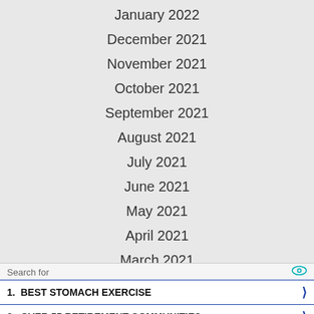January 2022
December 2021
November 2021
October 2021
September 2021
August 2021
July 2021
June 2021
May 2021
April 2021
March 2021
February 2021
Search for
1. BEST STOMACH EXERCISE
2. OVER 55 RETIREMENT COMMUNITIES
Yahoo! Search | Sponsored